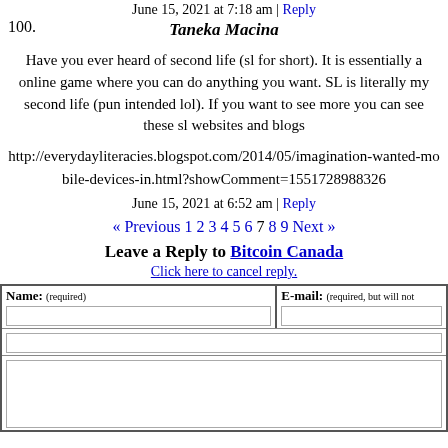June 15, 2021 at 7:18 am | Reply
100.
Taneka Macina
Have you ever heard of second life (sl for short). It is essentially a online game where you can do anything you want. SL is literally my second life (pun intended lol). If you want to see more you can see these sl websites and blogs
http://everydayliteracies.blogspot.com/2014/05/imagination-wanted-mobile-devices-in.html?showComment=1551728988326
June 15, 2021 at 6:52 am | Reply
« Previous 1 2 3 4 5 6 7 8 9 Next »
Leave a Reply to Bitcoin Canada
Click here to cancel reply.
| Name: (required) | E-mail: (required, but will not...) |
| --- | --- |
|  |  |
|  |  |